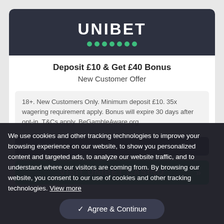[Figure (logo): Unibet logo: white bold text 'UNIBET' on dark background with green dots below]
Deposit £10 & Get £40 Bonus
New Customer Offer
18+. New Customers Only. Minimum deposit £10. 35x wagering requirement apply. Bonus will expire 30 days after opt-in. T&Cs apply. BeGambleAware.org
18+. Full Terms apply.
VISIT UNIBET CASINO
We use cookies and other tracking technologies to improve your browsing experience on our website, to show you personalized content and targeted ads, to analyze our website traffic, and to understand where our visitors are coming from. By browsing our website, you consent to our use of cookies and other tracking technologies. View more
✓ Agree & Continue